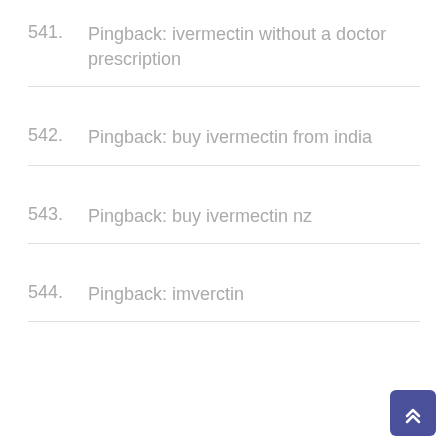541. Pingback: ivermectin without a doctor prescription
542. Pingback: buy ivermectin from india
543. Pingback: buy ivermectin nz
544. Pingback: imverctin